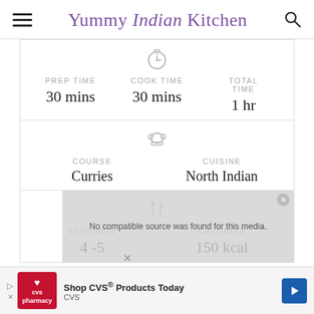Yummy Indian Kitchen
| PREP TIME | COOK TIME | TOTAL TIME |
| --- | --- | --- |
| 30 mins | 30 mins | 1 hr |
| COURSE | CUISINE |
| --- | --- |
| Curries | North Indian |
| SERVINGS | CALORIES |
| --- | --- |
| 4 -5 | 150 kcal |